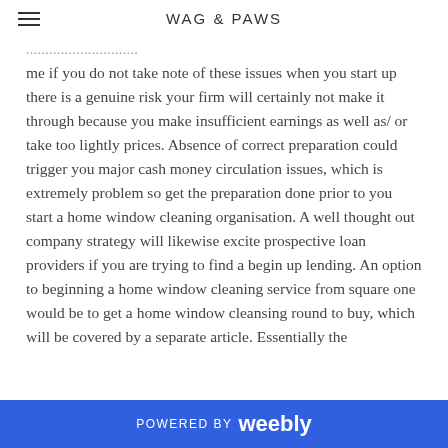WAG & PAWS
me if you do not take note of these issues when you start up there is a genuine risk your firm will certainly not make it through because you make insufficient earnings as well as/ or take too lightly prices. Absence of correct preparation could trigger you major cash money circulation issues, which is extremely problem so get the preparation done prior to you start a home window cleaning organisation. A well thought out company strategy will likewise excite prospective loan providers if you are trying to find a begin up lending. An option to beginning a home window cleaning service from square one would be to get a home window cleansing round to buy, which will be covered by a separate article. Essentially the
POWERED BY weebly